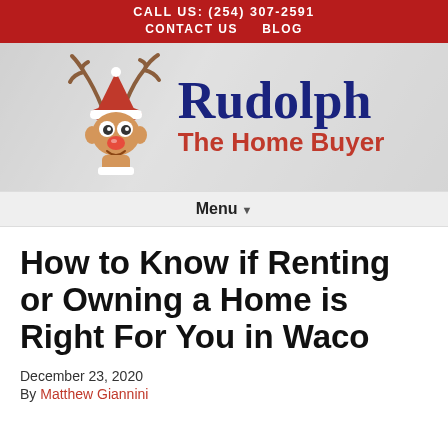CALL US: (254) 307-2591 | CONTACT US | BLOG
[Figure (logo): Rudolph The Home Buyer logo with cartoon reindeer wearing a Santa hat]
Menu ▾
How to Know if Renting or Owning a Home is Right For You in Waco
December 23, 2020
By Matthew Giannini